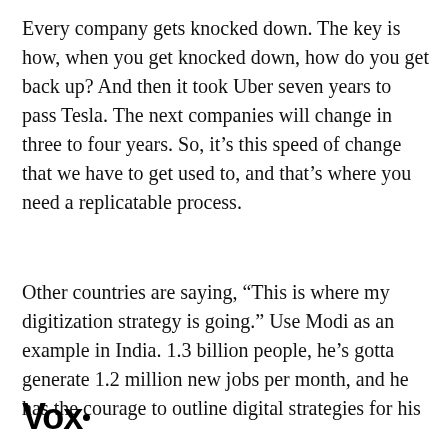Every company gets knocked down. The key is how, when you get knocked down, how do you get back up? And then it took Uber seven years to pass Tesla. The next companies will change in three to four years. So, it’s this speed of change that we have to get used to, and that’s where you need a replicatable process.
Other countries are saying, “This is where my digitization strategy is going.” Use Modi as an example in India. 1.3 billion people, he’s gotta generate 1.2 million new jobs per month, and he has the courage to outline digital strategies for his
Vox